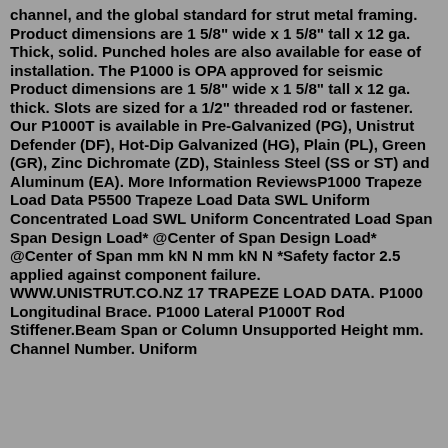channel, and the global standard for strut metal framing. Product dimensions are 1 5/8" wide x 1 5/8" tall x 12 ga. Thick, solid. Punched holes are also available for ease of installation. The P1000 is OPA approved for seismic Product dimensions are 1 5/8" wide x 1 5/8" tall x 12 ga. thick. Slots are sized for a 1/2" threaded rod or fastener. Our P1000T is available in Pre-Galvanized (PG), Unistrut Defender (DF), Hot-Dip Galvanized (HG), Plain (PL), Green (GR), Zinc Dichromate (ZD), Stainless Steel (SS or ST) and Aluminum (EA). More Information ReviewsP1000 Trapeze Load Data P5500 Trapeze Load Data SWL Uniform Concentrated Load SWL Uniform Concentrated Load Span Span Design Load* @Center of Span Design Load* @Center of Span mm kN N mm kN N *Safety factor 2.5 applied against component failure. WWW.UNISTRUT.CO.NZ 17 TRAPEZE LOAD DATA. P1000 Longitudinal Brace. P1000 Lateral P1000T Rod Stiffener.Beam Span or Column Unsupported Height mm. Channel Number. Uniform